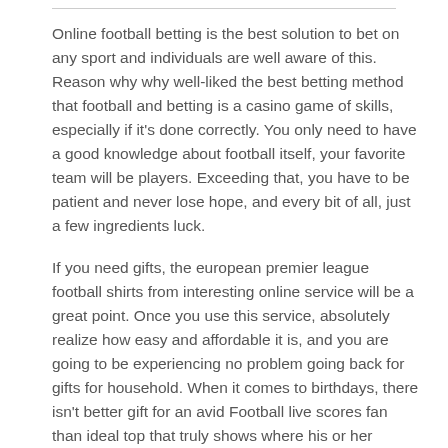Online football betting is the best solution to bet on any sport and individuals are well aware of this. Reason why why well-liked the best betting method that football and betting is a casino game of skills, especially if it's done correctly. You only need to have a good knowledge about football itself, your favorite team will be players. Exceeding that, you have to be patient and never lose hope, and every bit of all, just a few ingredients luck.
If you need gifts, the european premier league football shirts from interesting online service will be a great point. Once you use this service, absolutely realize how easy and affordable it is, and you are going to be experiencing no problem going back for gifts for household. When it comes to birthdays, there isn't better gift for an avid Football live scores fan than ideal top that truly shows where his or her allegiance is. You can get tops for French clubs, Spanish clubs, and even African and South African teams. The choice is yours.